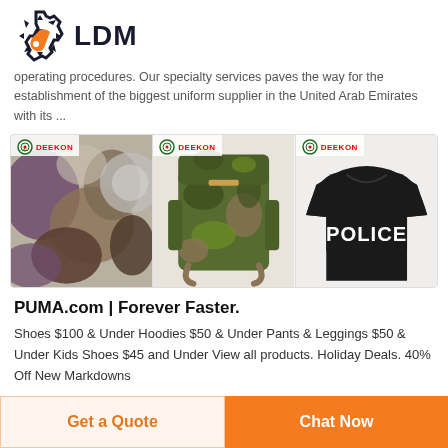[Figure (logo): LDM logo with gear/wrench icon in orange and black, text LDM in bold dark navy]
operating procedures. Our specialty services paves the way for the establishment of the biggest uniform supplier in the United Arab Emirates with its ...
[Figure (photo): Three product images side by side with DEEKON branding: camouflage fabric swatch, camouflage military backpack, and black police t-shirt]
PUMA.com | Forever Faster.
Shoes $100 & Under Hoodies $50 & Under Pants & Leggings $50 & Under Kids Shoes $45 and Under View all products. Holiday Deals. 40% Off New Markdowns